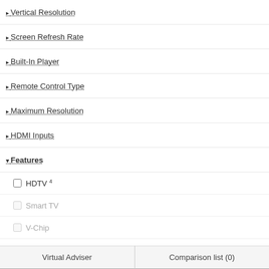▸ Vertical Resolution ?
▸ Screen Refresh Rate ?
▸ Built-In Player ?
▸ Remote Control Type ?
▸ Maximum Resolution ?
▸ HDMI Inputs ?
▾ Features
☐ HDTV 4 ?
☐ Smart TV ?
☐ V-Chip ?
☐ 3D 1 ?
☐ Simulated Surround ?
☐ DLNA ?
☐ Energy Star 5 ?
Acer S271HL
[Figure (photo): Acer S271HL monitor product photo showing a monitor with green screen and Acer logo]
Fea... (Features list partially visible) H, A, T, V, (
Learn more
Add...
Acer HN274H
[Figure (photo): Acer HN274H monitor product photo showing a monitor with green screen and Acer logo]
Fea... (Features list partially visible) H, A, T, V, 3
Learn more
Virtual Adviser    Comparison list (0)